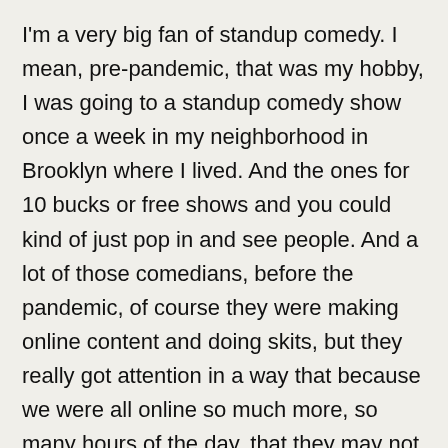I'm a very big fan of standup comedy. I mean, pre-pandemic, that was my hobby, I was going to a standup comedy show once a week in my neighborhood in Brooklyn where I lived. And the ones for 10 bucks or free shows and you could kind of just pop in and see people. And a lot of those comedians, before the pandemic, of course they were making online content and doing skits, but they really got attention in a way that because we were all online so much more, so many hours of the day, that they may not have otherwise gotten and it may potentially would've been harder for them to break through.
So that is a one tiny silver lining of the pandemic is we've got all these wonderful voices who maybe would've taken a couple more years to gain this sort of